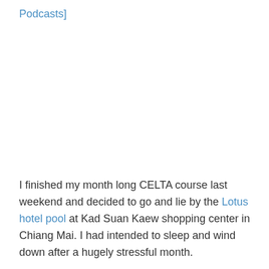Podcasts]
I finished my month long CELTA course last weekend and decided to go and lie by the Lotus hotel pool at Kad Suan Kaew shopping center in Chiang Mai. I had intended to sleep and wind down after a hugely stressful month.